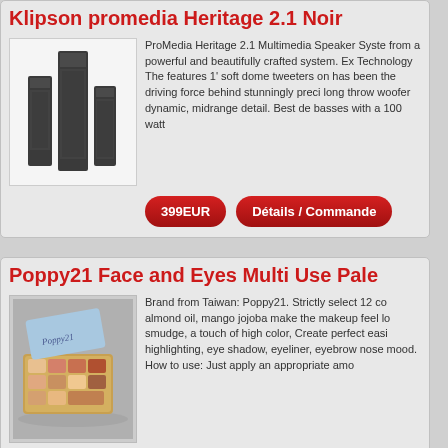Klipson promedia Heritage 2.1 Noir
[Figure (photo): Klipson ProMedia Heritage 2.1 speaker system — dark/black tower speakers]
ProMedia Heritage 2.1 Multimedia Speaker System from a powerful and beautifully crafted system. Ex Technology The features 1' soft dome tweeters on has been the driving force behind stunningly preci long throw woofer dynamic, midrange detail. Bes de basses with a 100 watt
399EUR
Détails / Commande
Poppy21 Face and Eyes Multi Use Pale
[Figure (photo): Poppy21 makeup palette — face and eyes multi use palette product photo]
Brand from Taiwan: Poppy21. Strictly select 12 co almond oil, mango jojoba make the makeup feel lo smudge, a touch of high color, Create perfect easi highlighting, eye shadow, eyeliner, eyebrow nose mood. How to use: Just apply an appropriate amo
35EUR
Détails / Commande